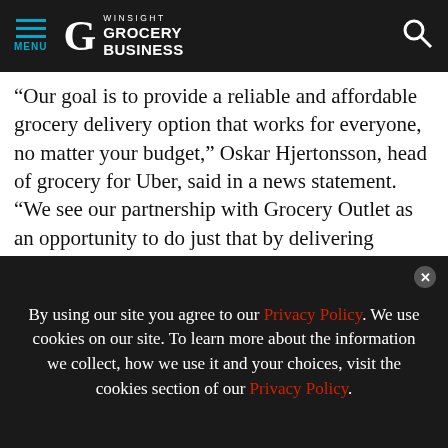MENU | WINSIGHT GROCERY BUSINESS
“Our goal is to provide a reliable and affordable grocery delivery option that works for everyone, no matter your budget,” Oskar Hjertonsson, head of grocery for Uber, said in a news statement. “We see our partnership with Grocery Outlet as an opportunity to do just that by delivering customers the brands they like at the Grocery Outlet prices they love, on-demand, right to their d[oors].
[Figure (infographic): Advertisement banner: Krispy Krunchy Chicken - Full Speed Ahead To Big Profits, with image of yellow car]
[Figure (other): reCAPTCHA widget with Privacy - Terms text]
strong traffic trends in its fiscal second quarter, as
By using our site you agree to our Privacy Policy. We use cookies on our site. To learn more about the information we collect, how we use it and your choices, visit the cookies section of our Privacy Policy.